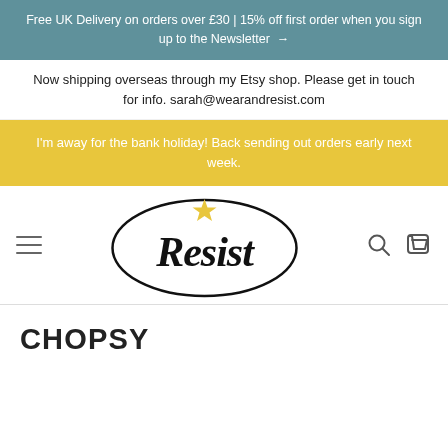Free UK Delivery on orders over £30 | 15% off first order when you sign up to the Newsletter →
Now shipping overseas through my Etsy shop. Please get in touch for info. sarah@wearandresist.com
I'm away for the bank holiday! Back sending out orders early next week.
[Figure (logo): Resist brand logo — oval border with 'Resist' in black cursive script and a yellow star above the letter i]
CHOPSY